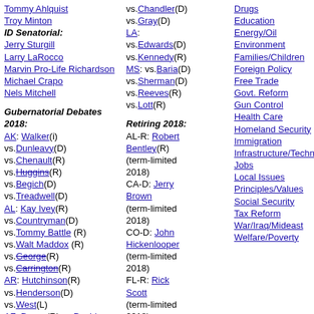Tommy Ahlquist
Troy Minton
ID Senatorial:
Jerry Sturgill
Larry LaRocco
Marvin Pro-Life Richardson
Michael Crapo
Nels Mitchell
Gubernatorial Debates 2018:
AK: Walker(i) vs.Dunleavy(D) vs.Chenault(R) vs.Huggins(R) vs.Begich(D) vs.Treadwell(D)
AL: Kay Ivey(R) vs.Countryman(D) vs.Tommy Battle (R) vs.Walt Maddox (R) vs.George(R) vs.Carrington(R)
AR: Hutchinson(R) vs.Henderson(D) vs.West(L)
AZ: Ducey(R) vs.David Garcia (D) vs.Farley(D)
CA: Newsom(D) vs.Chiang(D)
vs.Chandler(D)
vs.Gray(D)
LA:
vs.Edwards(D)
vs.Kennedy(R)
MS: vs.Baria(D)
vs.Sherman(D)
vs.Reeves(R)
vs.Lott(R)
Retiring 2018:
AL-R: Robert Bentley(R) (term-limited 2018)
CA-D: Jerry Brown (term-limited 2018)
CO-D: John Hickenlooper (term-limited 2018)
FL-R: Rick Scott (term-limited 2018)
GA-R: Nathan Deal (term-limited
Drugs
Education
Energy/Oil
Environment
Families/Children
Foreign Policy
Free Trade
Govt. Reform
Gun Control
Health Care
Homeland Security
Immigration
Infrastructure/Technology
Jobs
Local Issues
Principles/Values
Social Security
Tax Reform
War/Iraq/Mideast
Welfare/Poverty